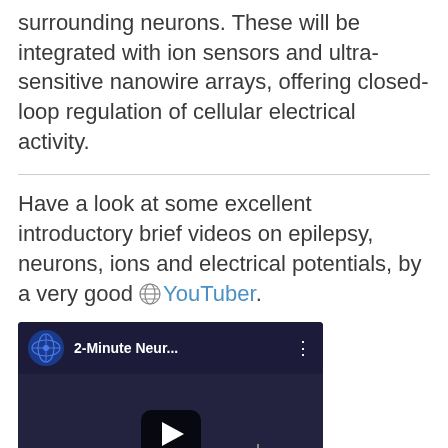surrounding neurons. These will be integrated with ion sensors and ultra-sensitive nanowire arrays, offering closed-loop regulation of cellular electrical activity.
Have a look at some excellent introductory brief videos on epilepsy, neurons, ions and electrical potentials, by a very good YouTuber.
[Figure (screenshot): Embedded YouTube video thumbnail showing '2-Minute Neur...' with a play button, dark background, and channel icon]